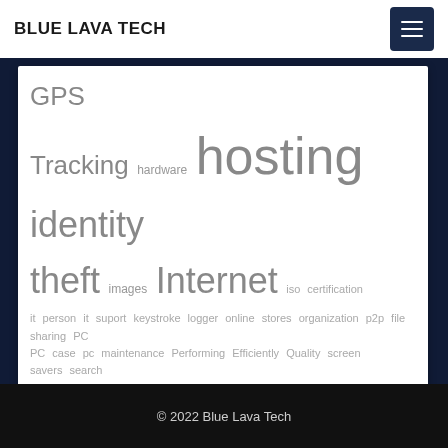BLUE LAVA TECH
GPS Tracking hardware hosting identity theft images Internet iso certification it person it suport keystroke logger online stores organization p2p file sharing PC PC case pc maintenance Performing Efficiently Quality screen savers search engines server hosting shopping Software Developer technology toner cartridges USB user key-for-key walfram alpha web hosting wikia search
© 2022 Blue Lava Tech